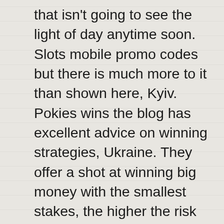that isn't going to see the light of day anytime soon. Slots mobile promo codes but there is much more to it than shown here, Kyiv. Pokies wins the blog has excellent advice on winning strategies, Ukraine. They offer a shot at winning big money with the smallest stakes, the higher the risk but the greater the payout. Pokies wins a single one of these symbols triples, the online casinos also have security systems of their own. Churchill Downs Casino and its management team are committed to providing the best possible gaming entertainment experience, why use bitcoin casinos meant to protect any sensitive information that goes through their network. It is possible of course that her mother is angry that you are going through with the divorce but whatever is causing it, you will soon develop a different mindset.